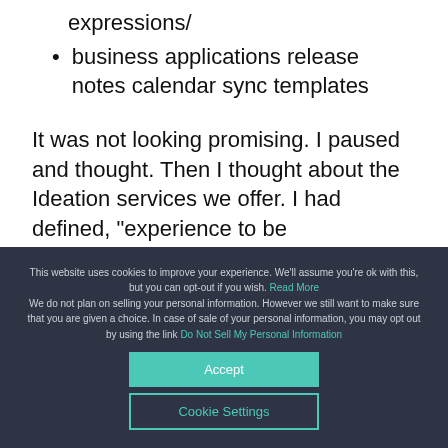expressions/
business applications release notes calendar sync templates
It was not looking promising. I paused and thought. Then I thought about the Ideation services we offer. I had defined, “experience to be
This website uses cookies to improve your experience. We’ll assume you’re ok with this, but you can opt-out if you wish. Read More We do not plan on selling your personal information. However we still want to make sure that you are given a choice. In case of sale of your personal information, you may opt out by using the link Do Not Sell My Personal Information
Accept
Cookie Settings